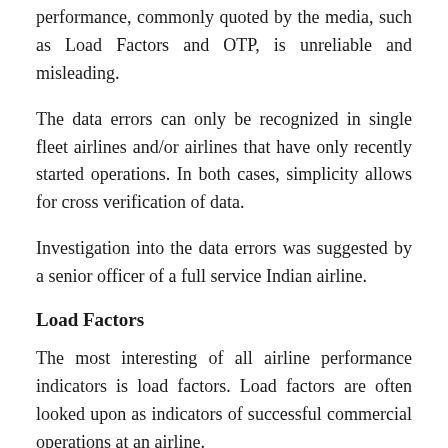performance, commonly quoted by the media, such as Load Factors and OTP, is unreliable and misleading.
The data errors can only be recognized in single fleet airlines and/or airlines that have only recently started operations. In both cases, simplicity allows for cross verification of data.
Investigation into the data errors was suggested by a senior officer of a full service Indian airline.
Load Factors
The most interesting of all airline performance indicators is load factors. Load factors are often looked upon as indicators of successful commercial operations at an airline.
DGCA publishes certain airline related data based on an